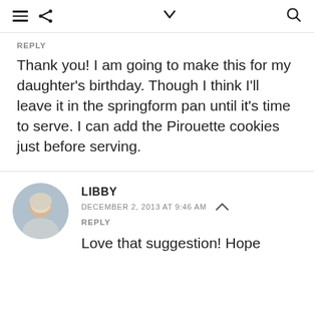≡ < ∨ 🔍
REPLY
Thank you! I am going to make this for my daughter's birthday. Though I think I'll leave it in the springform pan until it's time to serve. I can add the Pirouette cookies just before serving.
LIBBY
DECEMBER 2, 2013 AT 9:46 AM
REPLY
Love that suggestion! Hope